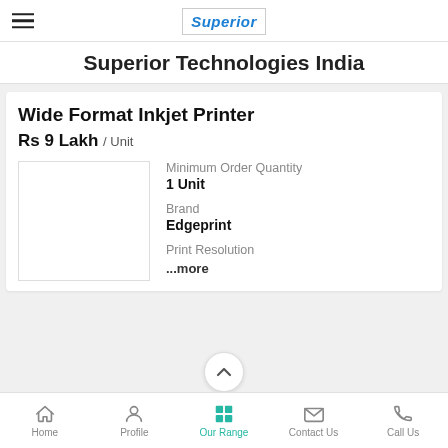[Figure (logo): Superior Technologies India company logo with blue italic text and red accent]
Superior Technologies India
Wide Format Inkjet Printer
Rs 9 Lakh / Unit
[Figure (photo): Product image placeholder for Wide Format Inkjet Printer]
Minimum Order Quantity
1 Unit
Brand
Edgeprint
Print Resolution
...more
Home  Profile  Our Range  Contact Us  Call Us